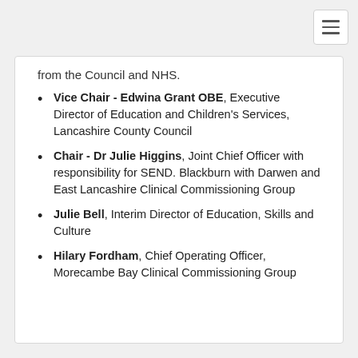from the Council and NHS.
Vice Chair - Edwina Grant OBE, Executive Director of Education and Children's Services, Lancashire County Council
Chair - Dr Julie Higgins, Joint Chief Officer with responsibility for SEND. Blackburn with Darwen and East Lancashire Clinical Commissioning Group
Julie Bell, Interim Director of Education, Skills and Culture
Hilary Fordham, Chief Operating Officer, Morecambe Bay Clinical Commissioning Group